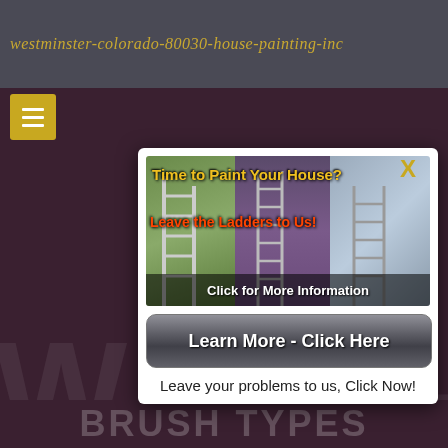westminster-colorado-80030-house-painting-inc
[Figure (screenshot): Advertisement popup showing house painters on ladders with text 'Time to Paint Your House? Leave the Ladders to Us! Click for More Information']
Learn More - Click Here
Leave your problems to us, Click Now!
BRUSH TYPES